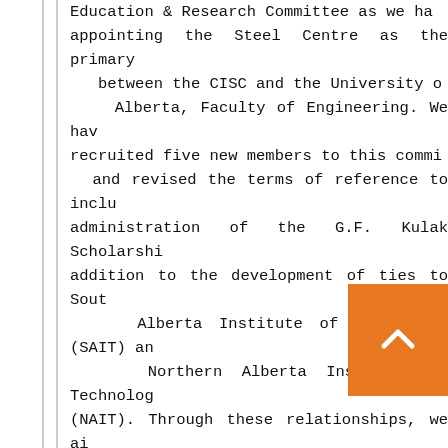Education & Research Committee as we have appointing the Steel Centre as the primary between the CISC and the University of Alberta, Faculty of Engineering. We have recruited five new members to this committee and revised the terms of reference to include administration of the G.F. Kulak Scholarship addition to the development of ties to Southern Alberta Institute of Technology (SAIT) and Northern Alberta Institute of Technology (NAIT). Through these relationships, we aim to promote and support steel design construction via their engineering, construction and applied sciences programs.
4. Growing market share
Banff Sessions Professional Development Conference